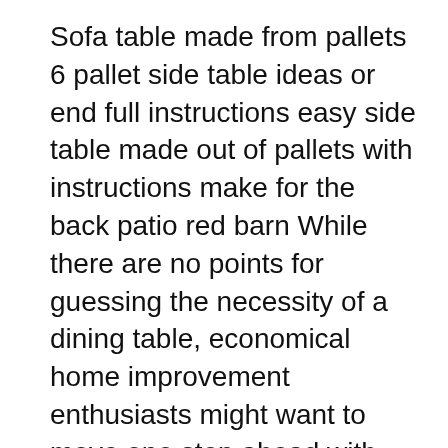Sofa table made from pallets 6 pallet side table ideas or end full instructions easy side table made out of pallets with instructions make for the back patio red barn While there are no points for guessing the necessity of a dining table, economical home improvement enthusiasts might want to move one step ahead with their woodworking skills to construct one at home. Your customized dinner table can be experimented with eccentric designs, freshening up your dining hall to host the next dinner party. Read on
You can check out the following ultra-modern coffee table designs which are